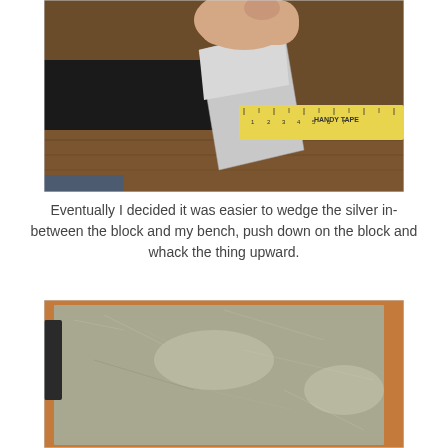[Figure (photo): Close-up photo of a hand holding a thin piece of silver sheet metal wedged between a dark block and a wooden bench surface, with a yellow measuring tape (HANDY TAPE) visible in the background.]
Eventually I decided it was easier to wedge the silver in-between the block and my bench, push down on the block and whack the thing upward.
[Figure (photo): Close-up photo of a flat piece of silver/metal sheet with scratches and marks on its surface, lying on a wooden surface with a dark object visible at the left edge.]